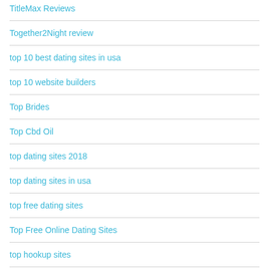TitleMax Reviews
Together2Night review
top 10 best dating sites in usa
top 10 website builders
Top Brides
Top Cbd Oil
top dating sites 2018
top dating sites in usa
top free dating sites
Top Free Online Dating Sites
top hookup sites
Top Mail Order Bride
top pay day loan